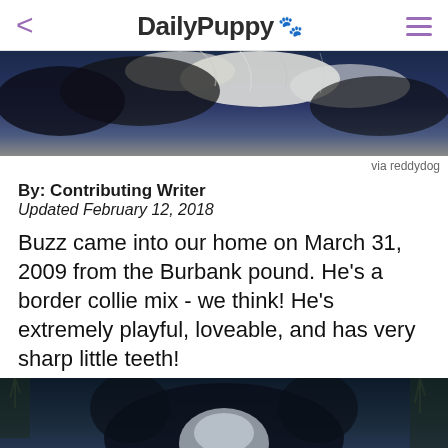DailyPuppy 🐾
[Figure (photo): Close-up photo of a black and white border collie dog from above, showing fur detail against a blue background]
via reddydog
By: Contributing Writer
Updated February 12, 2018
Buzz came into our home on March 31, 2009 from the Burbank pound. He's a border collie mix - we think! He's extremely playful, loveable, and has very sharp little teeth!
[Figure (photo): Photo of a border collie dog outdoors with dark fur, trees visible in background]